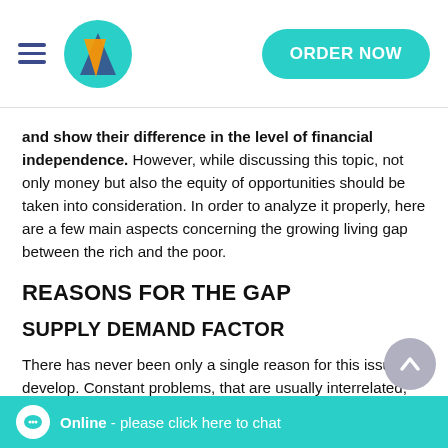ORDER NOW
and show their difference in the level of financial independence. However, while discussing this topic, not only money but also the equity of opportunities should be taken into consideration. In order to analyze it properly, here are a few main aspects concerning the growing living gap between the rich and the poor.
REASONS FOR THE GAP
SUPPLY DEMAND FACTOR
There has never been only a single reason for this issue to develop. Constant problems, that are usually interrelated, make an entire system of obstacles that forms financial inequality within society. The most tangible of these issues are education, globalization, gender, technological changes, racism, labor markets, taxes, reforms, cultural diversities, and even innate ability. These problems are all the main reasons for the financial gap to grow; however, what impacts society the most in the nowadays' capitalist market is the inequality of w...